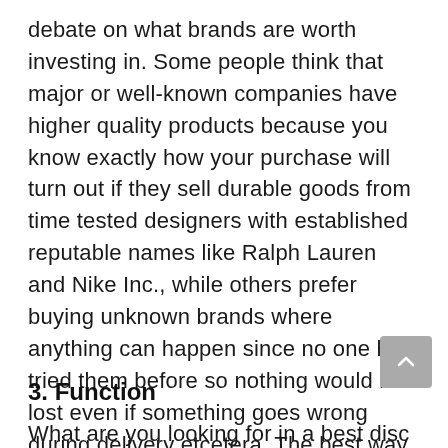debate on what brands are worth investing in. Some people think that major or well-known companies have higher quality products because you know exactly how your purchase will turn out if they sell durable goods from time tested designers with established reputable names like Ralph Lauren and Nike Inc., while others prefer buying unknown brands where anything can happen since no one has tried them before so nothing would be lost even if something goes wrong during delivery etcetera. The best way for me personally was going through both sides until finally landing somewhere between these two extremes: buy a recognizable name.
3. Function
What are you looking for in a best disc golf